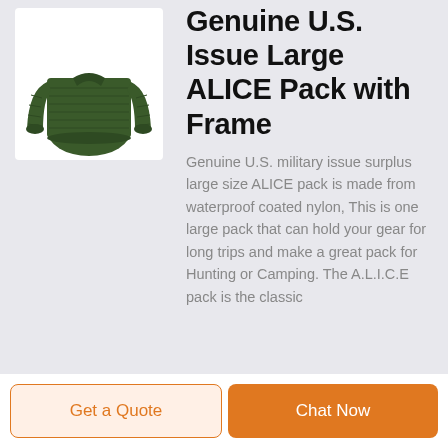[Figure (photo): Green military ribbed sweater/shirt product photo on white background]
Genuine U.S. Issue Large ALICE Pack with Frame
Genuine U.S. military issue surplus large size ALICE pack is made from waterproof coated nylon, This is one large pack that can hold your gear for long trips and make a great pack for Hunting or Camping. The A.L.I.C.E pack is the classic
Get a Quote
Chat Now